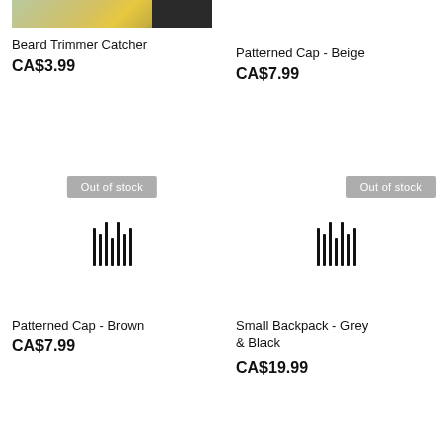[Figure (photo): Partial photo of Beard Trimmer Catcher product, cropped at top]
Beard Trimmer Catcher
CA$3.99
Patterned Cap - Beige
CA$7.99
[Figure (other): Out of stock placeholder with barcode icon for Patterned Cap - Brown]
[Figure (other): Out of stock placeholder with barcode icon for Small Backpack - Grey & Black]
Patterned Cap - Brown
CA$7.99
Small Backpack - Grey & Black
CA$19.99